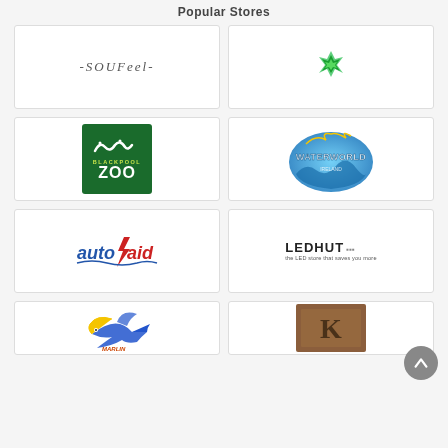Popular Stores
[Figure (logo): Soufeel logo — stylized text reading -SOUFEEL- in serif italic]
[Figure (logo): Razer logo — green snake/lightning bolt icon]
[Figure (logo): Blackpool Zoo logo — dark green square with white squiggle animal and ZOO text]
[Figure (logo): Waterworld logo — blue wave letters with fish]
[Figure (logo): Autopaid logo — stylized blue and red italic text]
[Figure (logo): LED HUT logo — bold LED HUT text with tagline 'the LED store that saves you more']
[Figure (logo): Partial logo — blue marlin/sailfish illustration]
[Figure (logo): Partial logo — brown wood background with partial K letter]